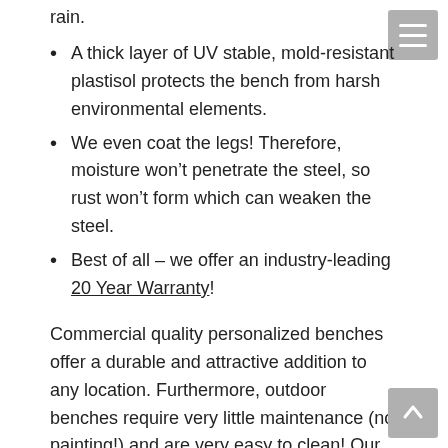rain.
A thick layer of UV stable, mold-resistant plastisol protects the bench from harsh environmental elements.
We even coat the legs! Therefore, moisture won't penetrate the steel, so rust won't form which can weaken the steel.
Best of all – we offer an industry-leading 20 Year Warranty!
Commercial quality personalized benches offer a durable and attractive addition to any location. Furthermore, outdoor benches require very little maintenance (no painting!) and are very easy to clean! Our products are second-to-none in durability and strength and exceed all performance requirements.
Dimensions for the 8' custom bench:  96" length x 15" seat depth. Surface mount benches have a 24" overall width. *Color